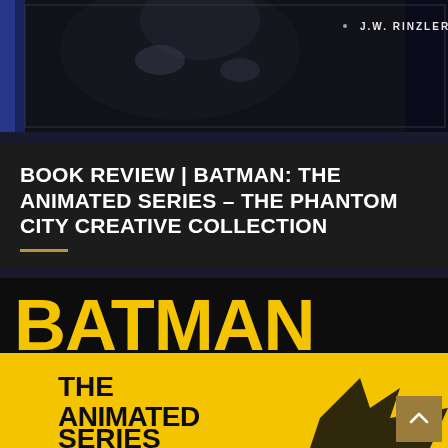[Figure (photo): Top banner image showing a dark figure (likely Batman) in a black suit with text 'J.W. RINZLER' overlaid in the upper right corner]
BOOK REVIEW | BATMAN: THE ANIMATED SERIES – THE PHANTOM CITY CREATIVE COLLECTION
[Figure (photo): Book cover of Batman: The Animated Series showing large black 'BATMAN' text on yellow background, with 'THE ANIMATED SERIES' text below in bold black on yellow, and a Batman symbol/logo at the bottom]